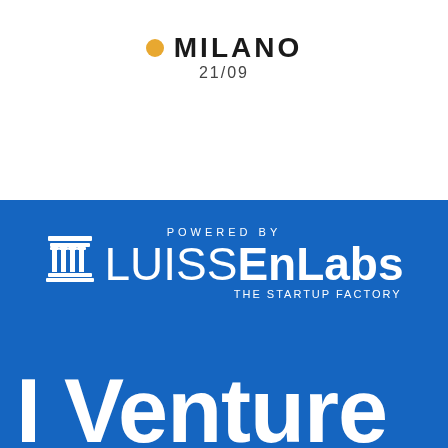MILANO
21/09
POWERED BY
[Figure (logo): LUISSEnLabs - The Startup Factory logo in white on blue background, with a Greek temple/column icon on the left]
[Figure (logo): Partial view of a venture-related logo text starting with 'I Venture' in large white bold letters on blue background]